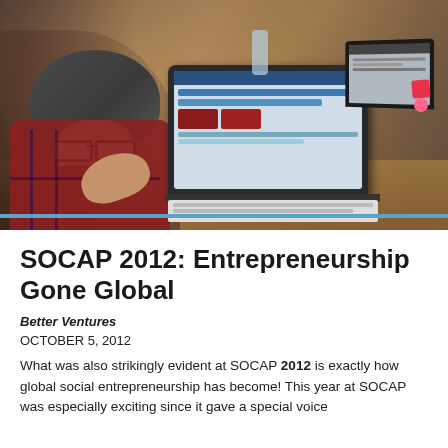[Figure (photo): A bearded man wearing a cap and glasses sits at a wooden table, gesturing with his hand, with a laptop open in front of him showing a screen with charts and UI elements. Another laptop is visible in the background on the right.]
SOCAP 2012: Entrepreneurship Gone Global
Better Ventures
OCTOBER 5, 2012
What was also strikingly evident at SOCAP 2012 is exactly how global social entrepreneurship has become! This year at SOCAP was especially exciting since it gave a special voice